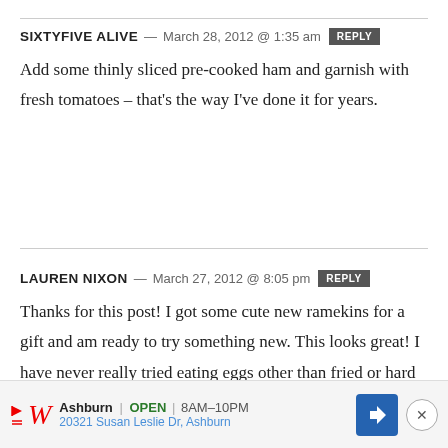SIXTYFIVE ALIVE — March 28, 2012 @ 1:35 am  REPLY
Add some thinly sliced pre-cooked ham and garnish with fresh tomatoes – that's the way I've done it for years.
LAUREN NIXON — March 27, 2012 @ 8:05 pm  REPLY
Thanks for this post! I got some cute new ramekins for a gift and am ready to try something new. This looks great! I have never really tried eating eggs other than fried or hard boiled. Excited to try!
[Figure (other): Advertisement banner for Walgreens: logo with red italic W, Ashburn OPEN 8AM-10PM, 20321 Susan Leslie Dr Ashburn, blue navigation icon, and close button]